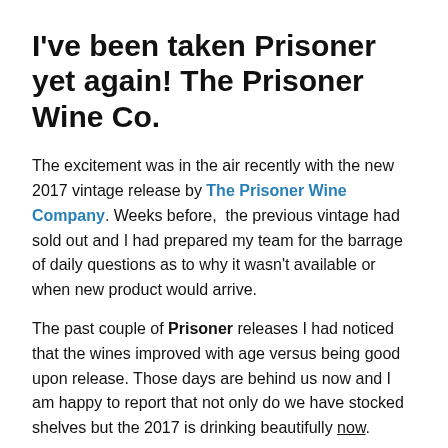I've been taken Prisoner yet again! The Prisoner Wine Co.
The excitement was in the air recently with the new 2017 vintage release by The Prisoner Wine Company. Weeks before,  the previous vintage had sold out and I had prepared my team for the barrage of daily questions as to why it wasn't available or when new product would arrive.
The past couple of Prisoner releases I had noticed that the wines improved with age versus being good upon release. Those days are behind us now and I am happy to report that not only do we have stocked shelves but the 2017 is drinking beautifully now.
A lot has changed in the wine world since I wrote about